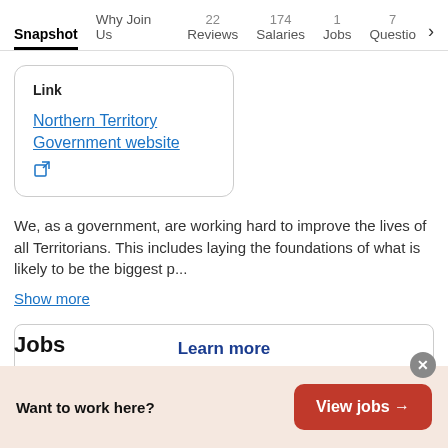Snapshot | Why Join Us | 22 Reviews | 174 Salaries | 1 Jobs | 7 Questio >
Link
Northern Territory Government website [external link icon]
We, as a government, are working hard to improve the lives of all Territorians. This includes laying the foundations of what is likely to be the biggest p...
Show more
Learn more
Jobs
Want to work here?  View jobs →